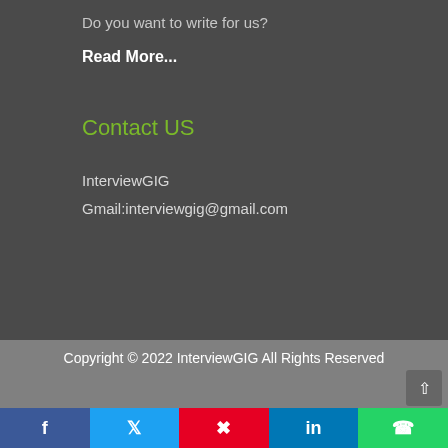Do you want to write for us?
Read More...
Contact US
InterviewGIG
Gmail:interviewgig@gmail.com
Copyright © 2022 InterviewGIG All Rights Reserved